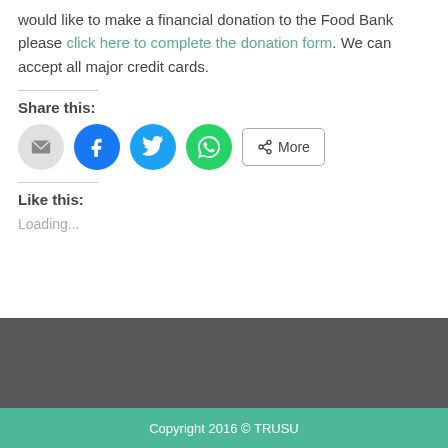would like to make a financial donation to the Food Bank please click here to complete the donation form. We can accept all major credit cards.
Share this:
[Figure (infographic): Row of social sharing buttons: email (gray circle), Facebook (blue circle), Twitter (light blue circle), WhatsApp (green circle), and a More button with share icon]
Like this:
Loading...
Copyright 2016 © TRUSU